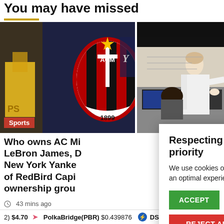You may have missed
[Figure (photo): AC Milan logo badge (1899) with a basketball player in yellow jersey on left and New York Yankees logo partially visible on right — collage of sports logos/images]
[Figure (photo): A man in a white lab coat pointing at monitors, with a woman seated in front of the screens in a control room or lab setting]
Sports
Who owns AC Mi LeBron James, D New York Yanke of RedBird Capi ownership grou
43 mins ago
Respecting your privacy is our priority
We use cookies on uomoelegante.it to give you an optimal experience. Happy surfing.
ACCEPT
SETTINGS
REJECT ALL
2) $4.70   PolkaBridge(PBR) $0.439876   DSLA Protocol(DSL